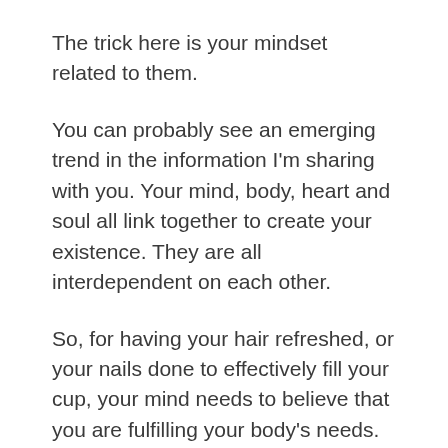The trick here is your mindset related to them.
You can probably see an emerging trend in the information I'm sharing with you. Your mind, body, heart and soul all link together to create your existence. They are all interdependent on each other.
So, for having your hair refreshed, or your nails done to effectively fill your cup, your mind needs to believe that you are fulfilling your body's needs.
It's all about intention, which is entirely